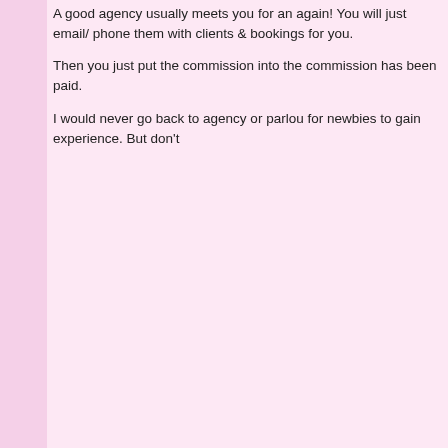A good agency usually meets you for an again! You will just email/ phone them with clients & bookings for you.

Then you just put the commission into the commission has been paid.

I would never go back to agency or parlou for newbies to gain experience. But don't
[Massive gap removed 🙂]
« Last Edit: 25 November 2013, 07:29:34 pm by
lady c
Sr. Member
Posts: 849
Re: My personal bad experiences agencies
« Reply #1 on: 25 November 2013, 08:08:57 pm
Wow that was some read and an eye ope and have a strict way in which I work than information I gathered. I am sure there wi that hopefully benefit from the information